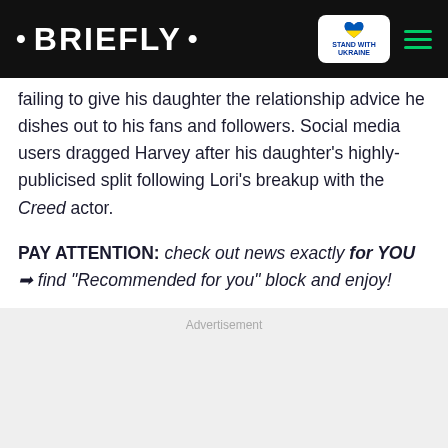• BRIEFLY •
failing to give his daughter the relationship advice he dishes out to his fans and followers. Social media users dragged Harvey after his daughter's highly-publicised split following Lori's breakup with the Creed actor.
PAY ATTENTION: check out news exactly for YOU ➡ find "Recommended for you" block and enjoy!
Advertisement